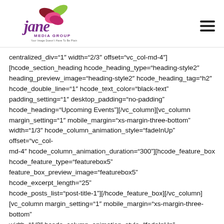[Figure (logo): Jane Media Group logo — stylized colorful petals above cursive 'jane' text with 'MEDIA GROUP' and tagline 'Your Image Doesn't Have To Be Plain']
centralized_div="1" width="2/3" offset="vc_col-md-4"] [hcode_section_heading hcode_heading_type="heading-style2" heading_preview_image="heading-style2" hcode_heading_tag="h2" hcode_double_line="1" hcode_text_color="black-text" padding_setting="1" desktop_padding="no-padding" hcode_heading="Upcoming Events"][/vc_column][vc_column margin_setting="1" mobile_margin="xs-margin-three-bottom" width="1/3" hcode_column_animation_style="fadeInUp" offset="vc_col-md-4" hcode_column_animation_duration="300"][hcode_feature_box hcode_feature_type="featurebox5" feature_box_preview_image="featurebox5" hcode_excerpt_length="25" hcode_posts_list="post-title-1"][/hcode_feature_box][/vc_column] [vc_column margin_setting="1" mobile_margin="xs-margin-three-bottom" width="1/3" hcode_column_animation_style="fadeInUp" offset="vc_col-md-4" hcode_column_animation_duration="600"][hcode_feature_box hcode_feature_type="featurebox5" feature_box_preview_image="featurebox5" hcode_excerpt_length="25"